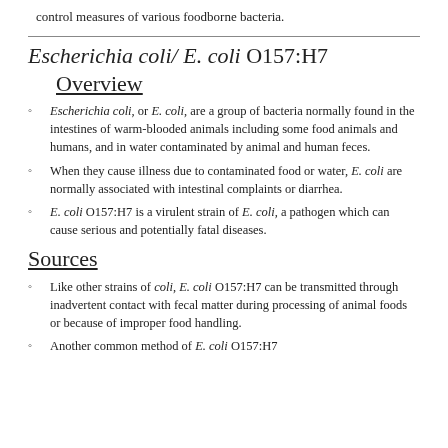control measures of various foodborne bacteria.
Escherichia coli/ E. coli O157:H7
Overview
Escherichia coli, or E. coli, are a group of bacteria normally found in the intestines of warm-blooded animals including some food animals and humans, and in water contaminated by animal and human feces.
When they cause illness due to contaminated food or water, E. coli are normally associated with intestinal complaints or diarrhea.
E. coli O157:H7 is a virulent strain of E. coli, a pathogen which can cause serious and potentially fatal diseases.
Sources
Like other strains of coli, E. coli O157:H7 can be transmitted through inadvertent contact with fecal matter during processing of animal foods or because of improper food handling.
Another common method of E. coli O157:H7